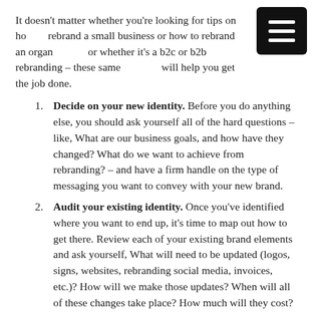It doesn't matter whether you're looking for tips on how to rebrand a small business or how to rebrand an organization, or whether it's a b2c or b2b rebranding – these same five tips will help you get the job done.
Decide on your new identity. Before you do anything else, you should ask yourself all of the hard questions – like, What are our business goals, and how have they changed? What do we want to achieve from rebranding? – and have a firm handle on the type of messaging you want to convey with your new brand.
Audit your existing identity. Once you've identified where you want to end up, it's time to map out how to get there. Review each of your existing brand elements and ask yourself, What will need to be updated (logos, signs, websites, rebranding social media, invoices, etc.)? How will we make those updates? When will all of these changes take place? How much will they cost?
Review your target audience. With all of these changes